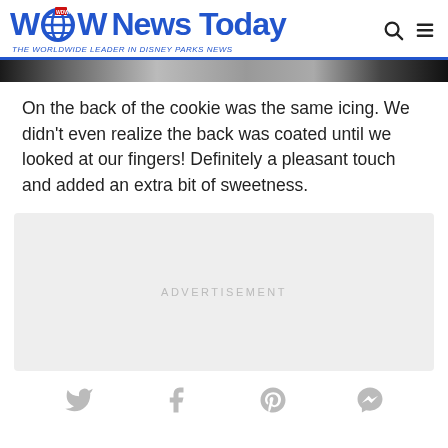[Figure (logo): WDW News Today logo with globe icon and tagline 'THE WORLDWIDE LEADER IN DISNEY PARKS NEWS']
[Figure (photo): Partial photo strip at top of article content]
On the back of the cookie was the same icing. We didn't even realize the back was coated until we looked at our fingers! Definitely a pleasant touch and added an extra bit of sweetness.
[Figure (other): Advertisement placeholder box with text 'ADVERTISEMENT']
[Figure (other): Social media share icons: Twitter, Facebook, Pinterest, Messenger]